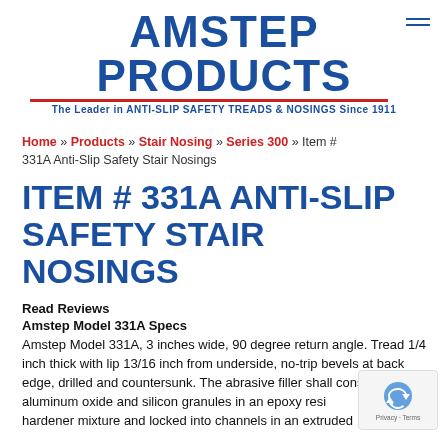[Figure (logo): Amstep Products logo with blue text, red underline, and tagline 'The Leader in ANTI-SLIP SAFETY TREADS & NOSINGS Since 1911']
Home » Products » Stair Nosing » Series 300 » Item # 331A Anti-Slip Safety Stair Nosings
ITEM # 331A ANTI-SLIP SAFETY STAIR NOSINGS
Read Reviews
Amstep Model 331A Specs
Amstep Model 331A, 3 inches wide, 90 degree return angle. Tread 1/4 inch thick with lip 13/16 inch from underside, no-trip bevels at back edge, drilled and countersunk. The abrasive filler shall consist of a mix aluminum oxide and silicon granules in an epoxy resin and hardener mixture and locked into channels in an extruded